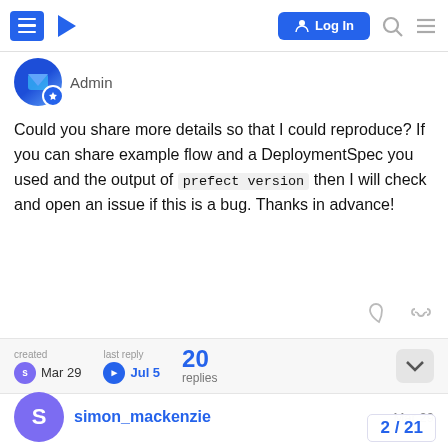Log In [navigation bar with hamburger menu, logo, login button, search, menu icons]
Admin
Could you share more details so that I could reproduce? If you can share example flow and a DeploymentSpec you used and the output of prefect version then I will check and open an issue if this is a bug. Thanks in advance!
created Mar 29   last reply Jul 5   20 replies
simon_mackenzie   Mar 29
Test script below. I see the issue. Here we have 20 tasks. Two workers have 7 each. The other 6 workers as soon as those 6 process their tasks the
2 / 21